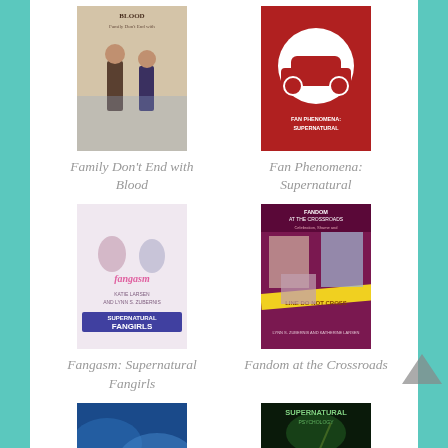[Figure (photo): Book cover: Family Don't End with Blood]
[Figure (photo): Book cover: Fan Phenomena: Supernatural]
Family Don't End with Blood
Fan Phenomena: Supernatural
[Figure (photo): Book cover: Fangasm: Supernatural Fangirls]
[Figure (photo): Book cover: Fandom at the Crossroads]
Fangasm: Supernatural Fangirls
Fandom at the Crossroads
[Figure (photo): Book cover: Fan Culture: Theory/Practice]
[Figure (photo): Book cover: Supernatural Psychology: Roads Less Traveled]
Fan Culture: Theory/Practice
Supernatural Psychology: Roads Less Traveled